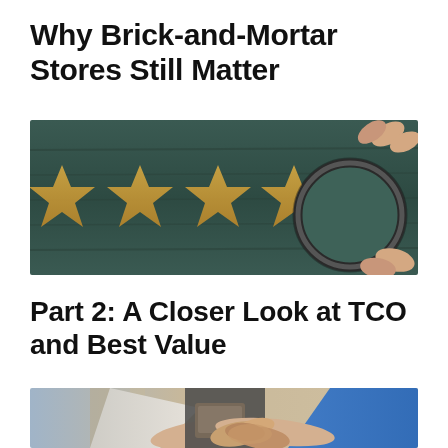Why Brick-and-Mortar Stores Still Matter
[Figure (photo): Five wooden star cutouts arranged in a row on a dark wooden surface; a hand holds a circular magnifying lens over the rightmost star, emphasizing it.]
Part 2: A Closer Look at TCO and Best Value
[Figure (photo): Two people shaking hands in a business setting, with a third person holding a document or tablet in the background.]